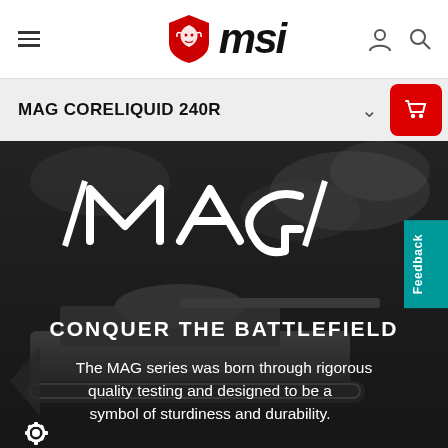[Figure (logo): MSI logo with red dragon shield and italic 'msi' text in black]
MAG CORELIQUID 240R
[Figure (illustration): Hero banner with dark military/tank background. Large white MAG logo text at top, bold uppercase text 'CONQUER THE BATTLEFIELD', and description text: 'The MAG series was born through rigorous quality testing and designed to be a symbol of sturdiness and durability.']
The MAG series was born through rigorous quality testing and designed to be a symbol of sturdiness and durability.